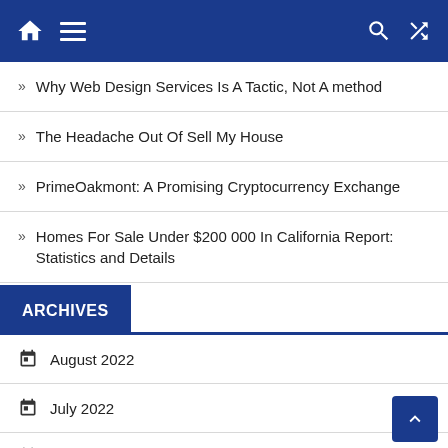Navigation header with home, menu, search, and shuffle icons
» Why Web Design Services Is A Tactic, Not A method
» The Headache Out Of Sell My House
» PrimeOakmont: A Promising Cryptocurrency Exchange
» Homes For Sale Under $200 000 In California Report: Statistics and Details
ARCHIVES
August 2022
July 2022
June 2022
April 2022